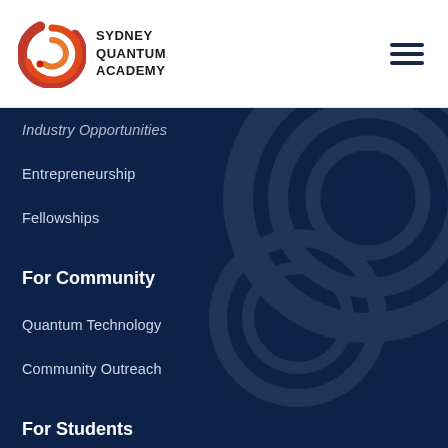[Figure (logo): Sydney Quantum Academy logo — red swirling circular emblem with the text SYDNEY QUANTUM ACADEMY in bold black]
[Figure (infographic): Hamburger menu icon — three dark horizontal lines stacked]
Industry Opportunities
Entrepreneurship
Fellowships
For Community
Quantum Technology
Community Outreach
For Students
Why Sydney
Undergraduate Programs